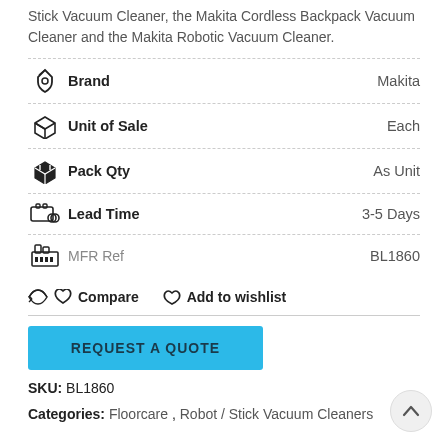Stick Vacuum Cleaner, the Makita Cordless Backpack Vacuum Cleaner and the Makita Robotic Vacuum Cleaner.
| Icon | Attribute | Value |
| --- | --- | --- |
| [tag icon] | Brand | Makita |
| [box open icon] | Unit of Sale | Each |
| [box solid icon] | Pack Qty | As Unit |
| [truck icon] | Lead Time | 3-5 Days |
| [factory icon] | MFR Ref | BL1860 |
Compare  Add to wishlist
REQUEST A QUOTE
SKU: BL1860
Categories: Floorcare, Robot / Stick Vacuum Cleaners